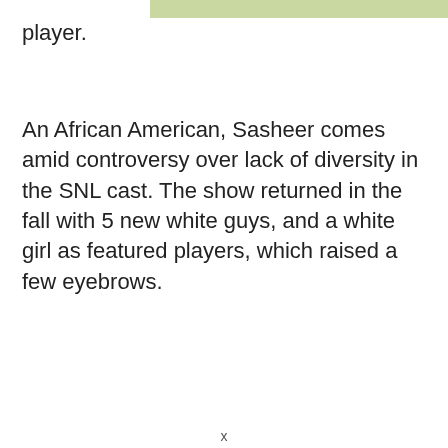[Figure (photo): Partial top strip showing a photo on the right side with a green/teal background and portion of a person, and white area on the left side.]
featured player.
An African American, Sasheer comes amid controversy over lack of diversity in the SNL cast. The show returned in the fall with 5 new white guys, and a white girl as featured players, which raised a few eyebrows.
x